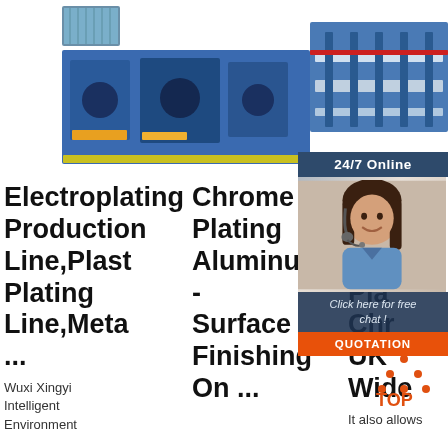[Figure (photo): Three industrial machinery photos in a row at top: left shows blue roll forming machine with small thumbnail above, center shows large dark metalworking machine, right shows long blue conveyor/roll forming line]
[Figure (infographic): 24/7 Online chat widget with dark blue header, woman with headset photo, 'Click here for free chat!' text, and orange QUOTATION button]
Electroplating Production Line,Plast Plating Line,Metal...
Chrome Plating Aluminum - Surface Finishing On ...
High Qu Ch Pla Chroming. UK Wide
Wuxi Xingyi Intelligent Environment
It also allows
[Figure (logo): TOP logo with orange dotted triangle above orange text 'TOP']